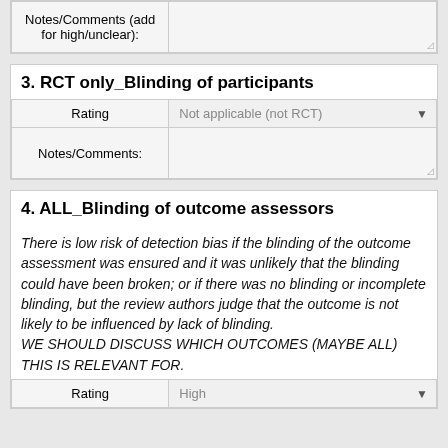| Notes/Comments (add for high/unclear): |  |
| --- | --- |
|  |
3. RCT only_Blinding of participants
| Rating | Not applicable (not RCT) |
| --- | --- |
| Notes/Comments: |  |
4. ALL_Blinding of outcome assessors
There is low risk of detection bias if the blinding of the outcome assessment was ensured and it was unlikely that the blinding could have been broken; or if there was no blinding or incomplete blinding, but the review authors judge that the outcome is not likely to be influenced by lack of blinding.
WE SHOULD DISCUSS WHICH OUTCOMES (MAYBE ALL) THIS IS RELEVANT FOR.
| Rating | High |
| --- | --- |